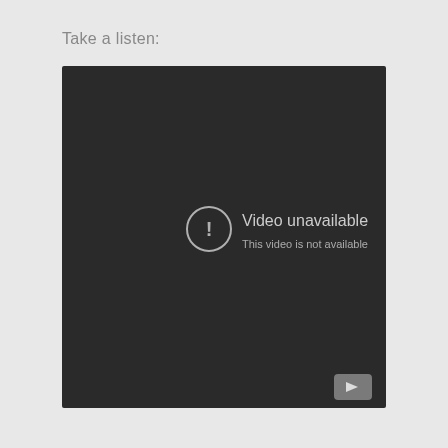Take a listen:
[Figure (screenshot): Embedded video player showing a dark/black background with a circular exclamation mark icon and the text 'Video unavailable' followed by 'This video is not available'. A YouTube logo button appears in the bottom-right corner of the player.]